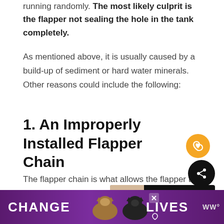running randomly. The most likely culprit is the flapper not sealing the hole in the tank completely.
As mentioned above, it is usually caused by a build-up of sediment or hard water minerals. Other reasons could include the following:
1. An Improperly Installed Flapper Chain
The flapper chain is what allows the flapper to lift up-and-down as required when the toilet is flushed.
[Figure (screenshot): Website UI overlay showing a heart/favorite button (gold circle with heart icon), a share button (black circle with share icon), and a 'What's Next' card showing 'Why Does Toilet Flappe...' with a thumbnail image of a hand.]
[Figure (screenshot): Advertisement banner at the bottom with purple background showing text 'CHANGE LIVES' with cat images and a logo 'WW' on the right, with a close button.]